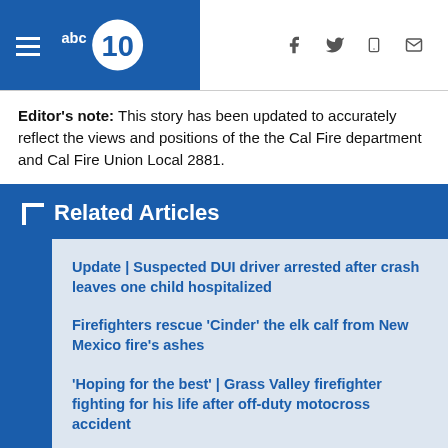ABC10 navigation header with hamburger menu, abc10 logo, and social icons (Facebook, Twitter, mobile, email)
Editor's note: This story has been updated to accurately reflect the views and positions of the the Cal Fire department and Cal Fire Union Local 2881.
Related Articles
Update | Suspected DUI driver arrested after crash leaves one child hospitalized
Firefighters rescue 'Cinder' the elk calf from New Mexico fire's ashes
'Hoping for the best' | Grass Valley firefighter fighting for his life after off-duty motocross accident
Watch more from ABC10: Sacramento City Unified mask mandate comeback 'likely' as COVID cases rise